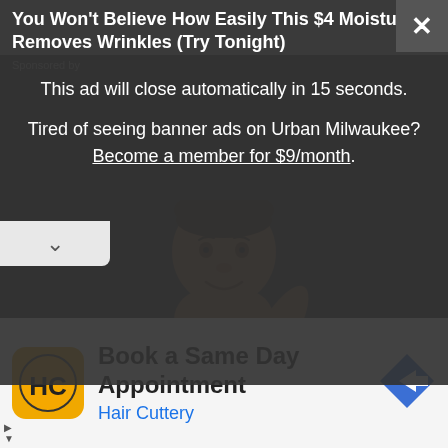You Won't Believe How Easily This $4 Moisturizer Removes Wrinkles (Try Tonight)
Sponsored by
This ad will close automatically in 15 seconds.
Tired of seeing banner ads on Urban Milwaukee? Become a member for $9/month.
[Figure (illustration): Cartoon illustration of a man scratching his back, shown from the torso up, with dark skin tone, on a dark background]
Book a Same Day Appointment
Hair Cuttery